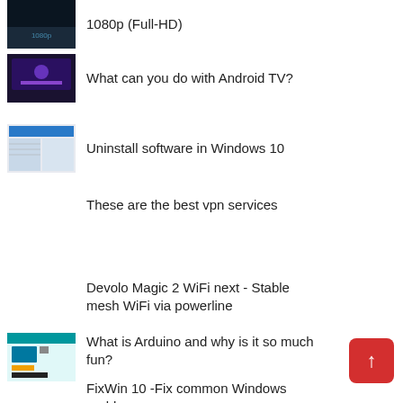1080p (Full-HD)
What can you do with Android TV?
Uninstall software in Windows 10
These are the best vpn services
Devolo Magic 2 WiFi next - Stable mesh WiFi via powerline
What is Arduino and why is it so much fun?
FixWin 10 -Fix common Windows problems